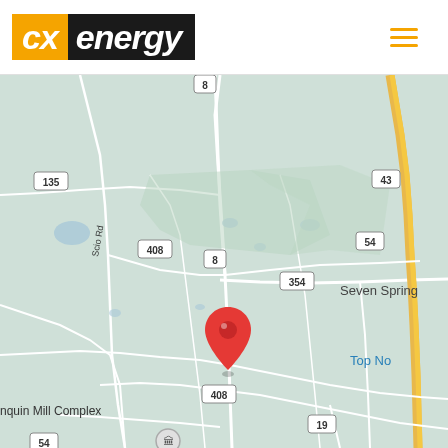[Figure (logo): CX Energy logo with gold 'cx' on gold background and 'energy' in white on dark/black background]
[Figure (map): Google Maps view of rural area near Seven Springs showing routes 135, 408, 8, 354, 43, 54, 19 and a red location pin marker. Labels visible include 'Seven Spring', 'Top No', 'nquin Mill Complex', and road 'Scio Rd'.]